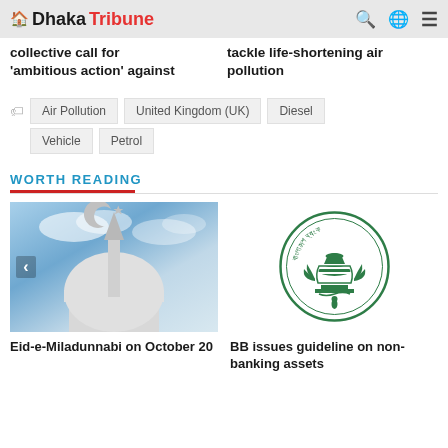Dhaka Tribune
collective call for 'ambitious action' against
tackle life-shortening air pollution
Air Pollution
United Kingdom (UK)
Diesel
Vehicle
Petrol
WORTH READING
[Figure (photo): Mosque dome with crescent and star against blue sky]
Eid-e-Miladunnabi on October 20
[Figure (logo): Bangladesh Bank circular seal/logo in green]
BB issues guideline on non-banking assets